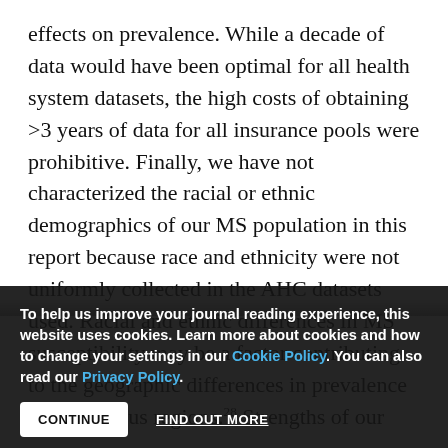effects on prevalence. While a decade of data would have been optimal for all health system datasets, the high costs of obtaining >3 years of data for all insurance pools were prohibitive. Finally, we have not characterized the racial or ethnic demographics of our MS population in this report because race and ethnicity were not uniformly collected in the AHC datasets used. Racial and ethnic differences in MS susceptibility may be a factor contributing to the geographic differences in prevalence in US Census regions.28 Strengths of our
To help us improve your journal reading experience, this website uses cookies. Learn more about cookies and how to change your settings in our Cookie Policy. You can also read our Privacy Policy.